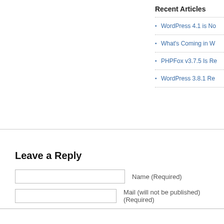Recent Articles
WordPress 4.1 is No…
What's Coming in W…
PHPFox v3.7.5 Is Re…
WordPress 3.8.1 Re…
Leave a Reply
Name (Required)
Mail (will not be published) (Required)